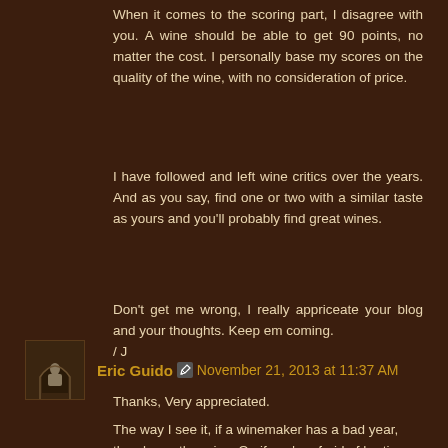When it comes to the scoring part, I disagree with you. A wine should be able to get 90 points, no matter the cost. I personally base my scores on the quality of the wine, with no consideration of price.
I have followed and left wine critics over the years. And as you say, find one or two with a similar taste as yours and you'll probably find great wines.
Don't get me wrong, I really appriceate your blog and your thoughts. Keep em coming.
/ J
Eric Guido  November 21, 2013 at 11:37 AM
Thanks, Very appreciated.
The way I see it, if a winemaker has a bad year, then lower the price. Or, if you're afraid of hurting